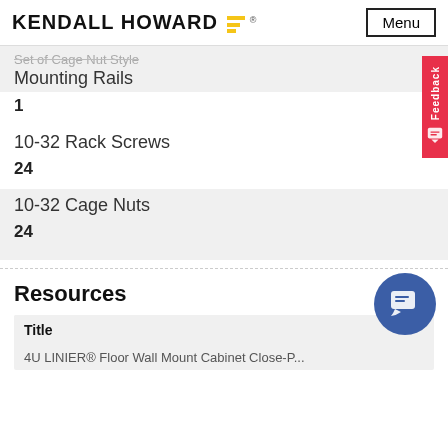KENDALL HOWARD | Menu
Set of Cage Nut Style Mounting Rails
1
10-32 Rack Screws
24
10-32 Cage Nuts
24
Resources
| Title |
| --- |
| 4U LINIER® Floor Wall Mount Cabinet Close-P... |